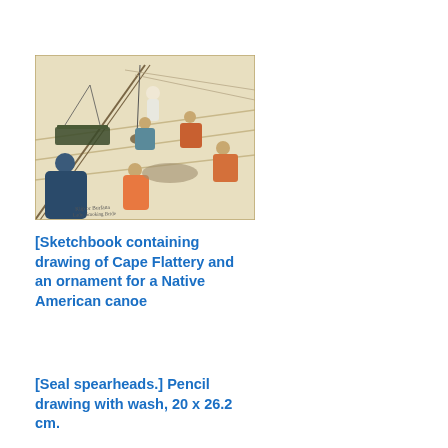[Figure (illustration): A sketchbook drawing depicting a scene inside what appears to be a Native American dwelling or canoe scene at Cape Flattery. Multiple figures in colorful garments are shown, with structural wooden elements, netting, and various objects. The scene has pencil and wash coloring with handwritten inscriptions at the bottom.]
[Sketchbook containing drawing of Cape Flattery and an ornament for a Native American canoe
[Seal spearheads.] Pencil drawing with wash, 20 x 26.2 cm.